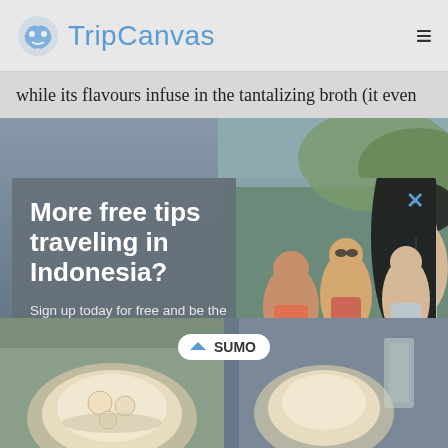TripCanvas
while its flavours infuse in the tantalizing broth (it even
[Figure (screenshot): Modal popup overlay on TripCanvas website with three girls photo background, email subscription form, and food photos at bottom]
More free tips traveling in Indonesia?
Sign up today for free and be the first to get notified of more tips traveling in Indonesia
Enter your Email
Free Subscribe
no, thanks